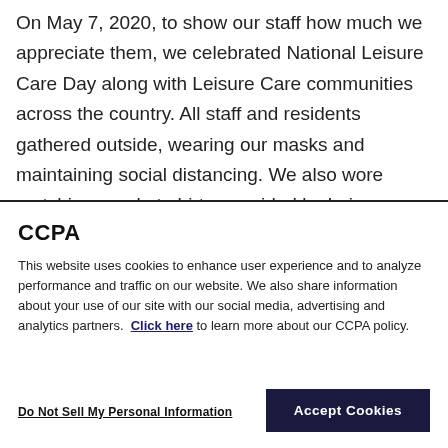On May 7, 2020, to show our staff how much we appreciate them, we celebrated National Leisure Care Day along with Leisure Care communities across the country. All staff and residents gathered outside, wearing our masks and maintaining social distancing. We also wore matching purple t-shirts, provided by Leisure Care, and celebrated with a smoothie bar, ice cream
CCPA
This website uses cookies to enhance user experience and to analyze performance and traffic on our website. We also share information about your use of our site with our social media, advertising and analytics partners. Click here to learn more about our CCPA policy.
Do Not Sell My Personal Information
Accept Cookies